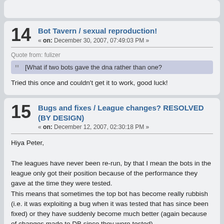(top of previous post, cropped)
14 Bot Tavern / sexual reproduction! « on: December 30, 2007, 07:49:03 PM »
Quote from: fulizer
[What if two bots gave the dna rather than one?
Tried this once and couldn't get it to work, good luck!
15 Bugs and fixes / League changes? RESOLVED (BY DESIGN) « on: December 12, 2007, 02:30:18 PM »
Hiya Peter,

The leagues have never been re-run, by that I mean the bots in the league only got their position because of the performance they gave at the time they were tested.
This means that sometimes the top bot has become really rubbish (i.e. it was exploiting a bug when it was tested that has since been fixed) or they have suddenly become much better (again because of changes made to DB since they were tested).